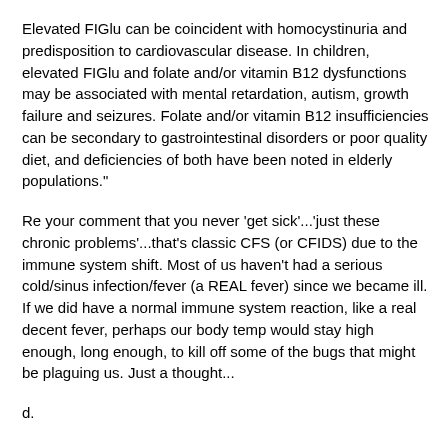Elevated FIGlu can be coincident with homocystinuria and predisposition to cardiovascular disease. In children, elevated FIGlu and folate and/or vitamin B12 dysfunctions may be associated with mental retardation, autism, growth failure and seizures. Folate and/or vitamin B12 insufficiencies can be secondary to gastrointestinal disorders or poor quality diet, and deficiencies of both have been noted in elderly populations."
Re your comment that you never 'get sick'...'just these chronic problems'...that's classic CFS (or CFIDS) due to the immune system shift. Most of us haven't had a serious cold/sinus infection/fever (a REAL fever) since we became ill. If we did have a normal immune system reaction, like a real decent fever, perhaps our body temp would stay high enough, long enough, to kill off some of the bugs that might be plaguing us. Just a thought...
d.